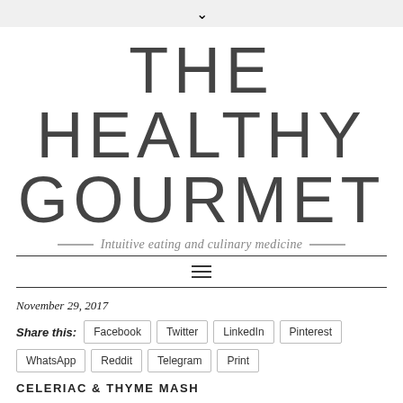THE HEALTHY GOURMET
Intuitive eating and culinary medicine
November 29, 2017
Share this: Facebook Twitter LinkedIn Pinterest WhatsApp Reddit Telegram Print
CELERIAC & THYME MASH